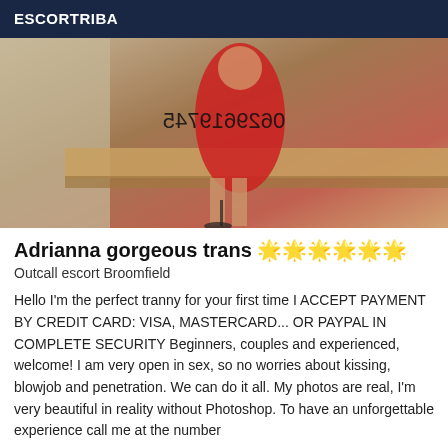ESCORTRIBA
[Figure (photo): Photo of a person in a red dress and black high heels with a mirrored phone number overlay reading 0629619745]
Adrianna gorgeous trans 🌟🌟🌟🌟🌟🌟
Outcall escort Broomfield
Hello I'm the perfect tranny for your first time I ACCEPT PAYMENT BY CREDIT CARD: VISA, MASTERCARD... OR PAYPAL IN COMPLETE SECURITY Beginners, couples and experienced, welcome! I am very open in sex, so no worries about kissing, blowjob and penetration. We can do it all. My photos are real, I'm very beautiful in reality without Photoshop. To have an unforgettable experience call me at the number